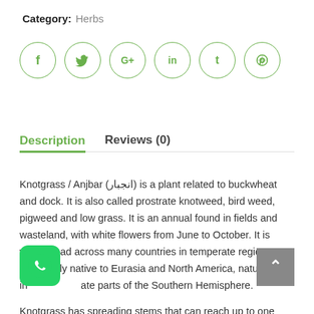Category: Herbs
[Figure (other): Social media share icons: Facebook (f), Twitter (bird), Google+ (G+), LinkedIn (in), Tumblr (t), Pinterest (p)]
Description    Reviews (0)
Knotgrass / Anjbar (انجبار) is a plant related to buckwheat and dock. It is also called prostrate knotweed, bird weed, pigweed and low grass. It is an annual found in fields and wasteland, with white flowers from June to October. It is widespread across many countries in temperate regions, apparently native to Eurasia and North America, naturalized in temperate parts of the Southern Hemisphere.

Knotgrass has spreading stems that can reach up to one metre